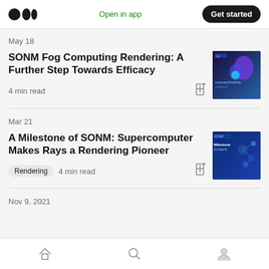Medium logo | Open in app | Get started
May 18
SONM Fog Computing Rendering: A Further Step Towards Efficacy
4 min read
[Figure (photo): Dark blue/purple banner with SONM fog computing rendering text and abstract shapes]
Mar 21
A Milestone of SONM: Supercomputer Makes Rays a Rendering Pioneer
Rendering  4 min read
[Figure (photo): Blue banner with Milestone of SONM: supercomputer text and blue background pattern]
Nov 9, 2021